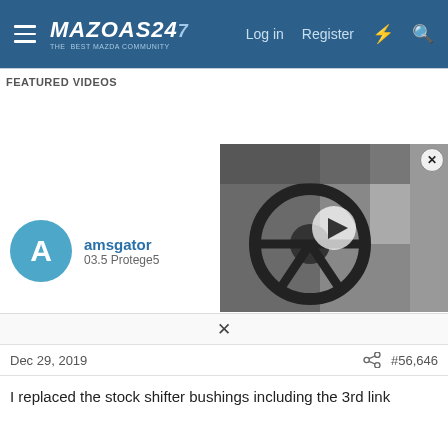Mazdas247 — Log in  Register
FEATURED VIDEOS
[Figure (screenshot): Video thumbnail showing car interior with steering wheel, dark grayscale image with play button overlay. Close button (X circle) at top right.]
amsgator
03.5 Protege5
Dec 29, 2019  #56,646
I replaced the stock shifter bushings including the 3rd link